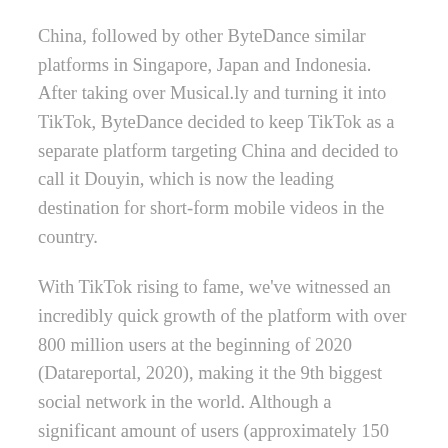China, followed by other ByteDance similar platforms in Singapore, Japan and Indonesia. After taking over Musical.ly and turning it into TikTok, ByteDance decided to keep TikTok as a separate platform targeting China and decided to call it Douyin, which is now the leading destination for short-form mobile videos in the country.
With TikTok rising to fame, we've witnessed an incredibly quick growth of the platform with over 800 million users at the beginning of 2020 (Datareportal, 2020), making it the 9th biggest social network in the world. Although a significant amount of users (approximately 150 million people) are in China, the platform has seen success in other countries, like Cambodia, Japan, Indonesia, Malaysia, Thailand and Vietnam. It was only a matter of time before TikTok